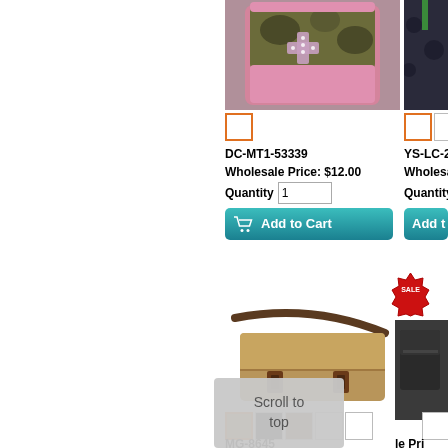[Figure (photo): Pink and camo crossbody bag with rhinestone cross, product DC-MT1-53339]
[Figure (photo): Black and white paisley bag with green strap, product YS-LC-2006, partially visible]
DC-MT1-53339
Wholesale Price: $12.00
Quantity 1
YS-LC-2006
Wholesale Pri…
Quantity 1
[Figure (photo): Khaki/tan canvas messenger bag with brown leather straps, product MG-8645]
[Figure (photo): Dark gray/charcoal leather messenger bag, partially visible, with SALE badge]
MG-8645
Wholesale Price: $15.5…
le Pri… 01
Scroll to top